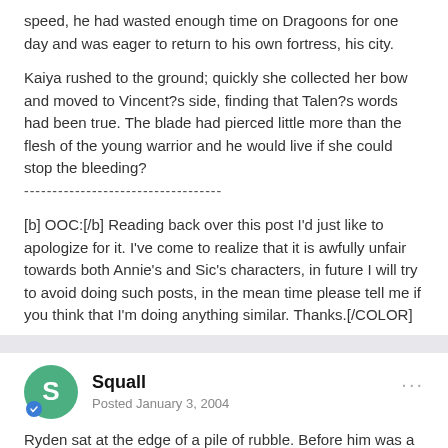speed, he had wasted enough time on Dragoons for one day and was eager to return to his own fortress, his city.
Kaiya rushed to the ground; quickly she collected her bow and moved to Vincent?s side, finding that Talen?s words had been true. The blade had pierced little more than the flesh of the young warrior and he would live if she could stop the bleeding?
-----------------------------------
[b] OOC:[/b] Reading back over this post I'd just like to apologize for it. I've come to realize that it is awfully unfair towards both Annie's and Sic's characters, in future I will try to avoid doing such posts, in the mean time please tell me if you think that I'm doing anything similar. Thanks.[/COLOR]
Squall
Posted January 3, 2004
Ryden sat at the edge of a pile of rubble. Before him was a once burried room, full of crushed slaves. "I was right...they're